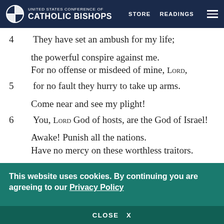United States Conference of Catholic Bishops — STORE  READINGS
4   They have set an ambush for my life;

    the powerful conspire against me.
    For no offense or misdeed of mine, LORD,
5   for no fault they hurry to take up arms.

    Come near and see my plight!
6   You, LORD God of hosts, are the God of Israel!

    Awake! Punish all the nations.
    Have no mercy on these worthless traitors.
This website uses cookies. By continuing you are agreeing to our Privacy Policy
CLOSE  X